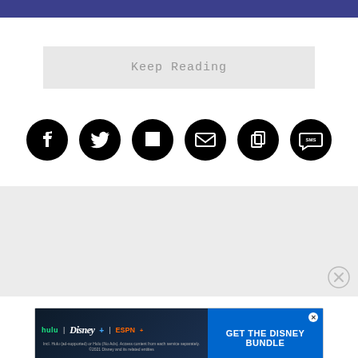Keep Reading
[Figure (infographic): Row of six social sharing icon buttons: Facebook, Twitter, Flipboard, Email, Copy, SMS — all black circular icons on white background]
[Figure (infographic): Gray advertisement placeholder block with a close (X) button in the bottom right corner]
[Figure (infographic): Disney Bundle advertisement banner showing Hulu, Disney+, ESPN+ logos on dark background with blue GET THE DISNEY BUNDLE call to action button. Fine print: Incl. Hulu (ad-supported) or Hulu (No Ads). Access content from each service separately. ©2021 Disney and its related entities]